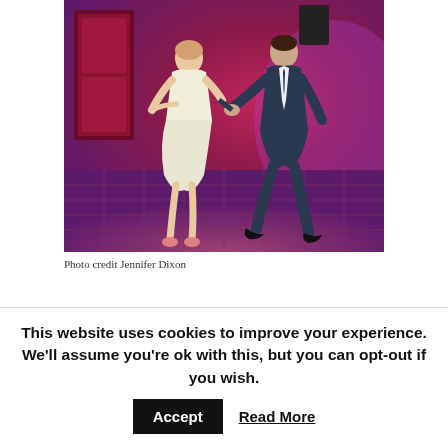[Figure (photo): Two people dancing in a venue with pink/purple lighting. A woman in a white dress and a man in a dark suit are holding hands on a dance floor.]
Photo credit Jennifer Dixon
This website uses cookies to improve your experience. We'll assume you're ok with this, but you can opt-out if you wish.
Accept
Read More